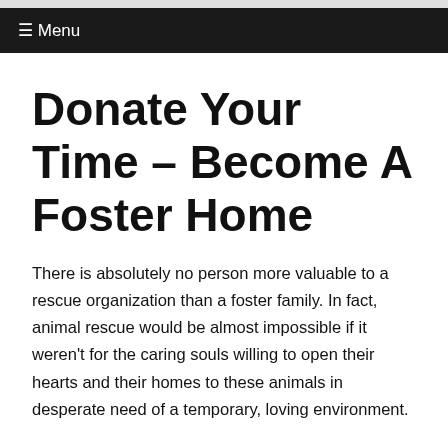☰ Menu
Donate Your Time – Become A Foster Home
There is absolutely no person more valuable to a rescue organization than a foster family. In fact, animal rescue would be almost impossible if it weren't for the caring souls willing to open their hearts and their homes to these animals in desperate need of a temporary, loving environment.